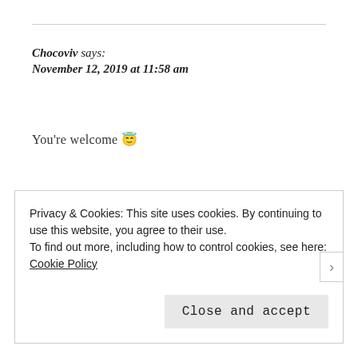Chocoviv says:
November 12, 2019 at 11:58 am
You're welcome 😇
★ Like
Reply
Privacy & Cookies: This site uses cookies. By continuing to use this website, you agree to their use.
To find out more, including how to control cookies, see here: Cookie Policy
Close and accept